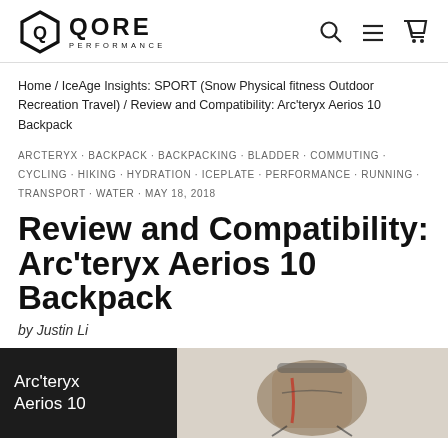QORE PERFORMANCE [logo] [search icon] [menu icon] [cart icon]
Home / IceAge Insights: SPORT (Snow Physical fitness Outdoor Recreation Travel) / Review and Compatibility: Arc'teryx Aerios 10 Backpack
ARCTERYX · BACKPACK · BACKPACKING · BLADDER · COMMUTING · CYCLING · HIKING · HYDRATION · ICEPLATE · PERFORMANCE · RUNNING · TRANSPORT · WATER · MAY 18, 2018
Review and Compatibility: Arc'teryx Aerios 10 Backpack
by Justin Li
[Figure (photo): Two-panel image: left panel is a dark/black background with white text reading 'Arc'teryx Aerios 10'; right panel shows a photograph of the Arc'teryx Aerios 10 backpack laid on a light surface]